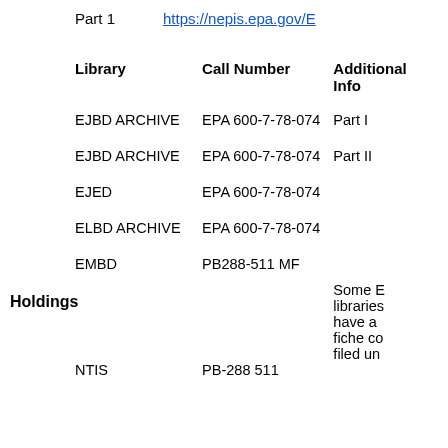Part 1    https://nepis.epa.gov/E...
| Library | Call Number | Additional Info |
| --- | --- | --- |
| EJBD ARCHIVE | EPA 600-7-78-074 | Part I |
| EJBD ARCHIVE | EPA 600-7-78-074 | Part II |
| EJED | EPA 600-7-78-074 |  |
| ELBD ARCHIVE | EPA 600-7-78-074 |  |
| EMBD | PB288-511 MF |  |
| NTIS | PB-288 511 | Some E... libraries have a fiche co... filed un... |
Holdings
Some E... libraries have a fiche co... filed un...